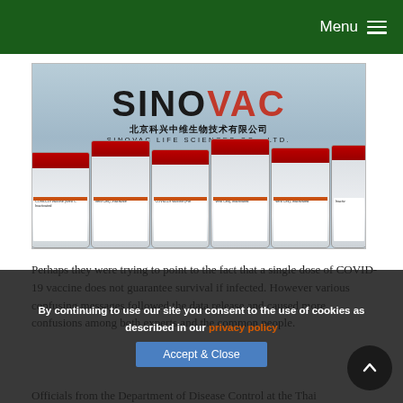Menu
[Figure (photo): Photo of Sinovac COVID-19 vaccine vials with red caps arranged in a row, with the Sinovac brand name visible in the background (SINO in black, VAC in red), along with Chinese text and 'SINOVAC LIFE SCIENCES CO., LTD.' The vials are labeled as COVID-19 Vaccine (Vero Cell), Inactivated.]
Perhaps they were trying to point to the fact that a single dose of COVID-19 vaccine does not guarantee survival if infected. However various confusing messages followed the data release and caused more confusions among both experts and the common people.
Officials from the Department of Disease Control at the Thai
By continuing to use our site you consent to the use of cookies as described in our privacy policy
Accept & Close